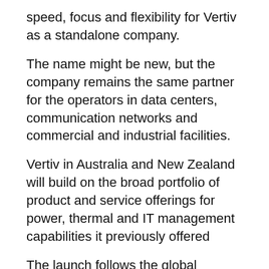speed, focus and flexibility for Vertiv as a standalone company.
The name might be new, but the company remains the same partner for the operators in data centers, communication networks and commercial and industrial facilities.
Vertiv in Australia and New Zealand will build on the broad portfolio of product and service offerings for power, thermal and IT management capabilities it previously offered
The launch follows the global campaign to rebrand Vertiv as a standalone company, after the completion of the sale to Platinum Equity.
Commenting on the rebrand, Anand Sanghi, president, Asia, Vertiv, says “We have a rich and proud history here in the region and now with the launch of Vertiv, we look forward to serving our